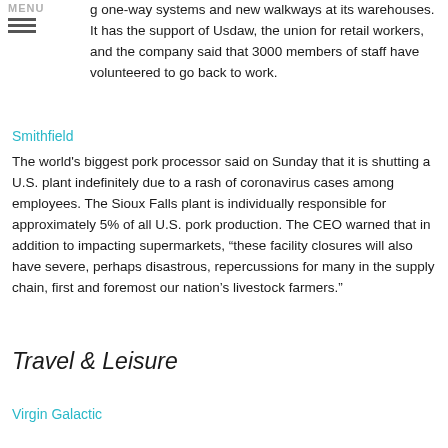g one-way systems and new walkways at its warehouses. It has the support of Usdaw, the union for retail workers, and the company said that 3000 members of staff have volunteered to go back to work.
Smithfield
The world's biggest pork processor said on Sunday that it is shutting a U.S. plant indefinitely due to a rash of coronavirus cases among employees. The Sioux Falls plant is individually responsible for approximately 5% of all U.S. pork production. The CEO warned that in addition to impacting supermarkets, “these facility closures will also have severe, perhaps disastrous, repercussions for many in the supply chain, first and foremost our nation’s livestock farmers.”
Travel & Leisure
Virgin Galactic